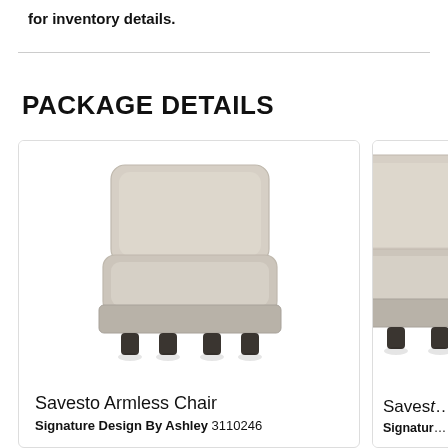for inventory details.
PACKAGE DETAILS
[Figure (photo): Savesto Armless Chair – a beige/tan upholstered armless accent chair with a large back cushion and seat cushion, on dark small feet, shown in a product photo against white background.]
Savesto Armless Chair
Signature Design By Ashley 3110246
[Figure (photo): Partial view of a second Savesto chair product, showing the back and side of an armless upholstered chair in similar beige fabric, cropped at the right edge.]
Saves...
Signatur...